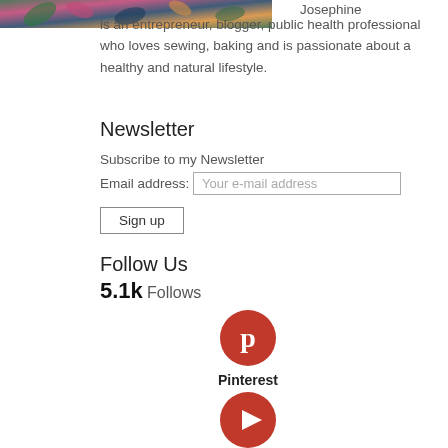[Figure (photo): Partial photo of Josephine wearing a floral/leaf patterned top]
Josephine is an entrepreneur, blogger, public health professional who loves sewing, baking and is passionate about a healthy and natural lifestyle.
Newsletter
Subscribe to my Newsletter
Email address: Your e-mail address
Sign up
Follow Us
5.1k Follows
[Figure (logo): Pinterest circular red icon with white P symbol]
Pinterest
[Figure (logo): YouTube circular red icon with white play button]